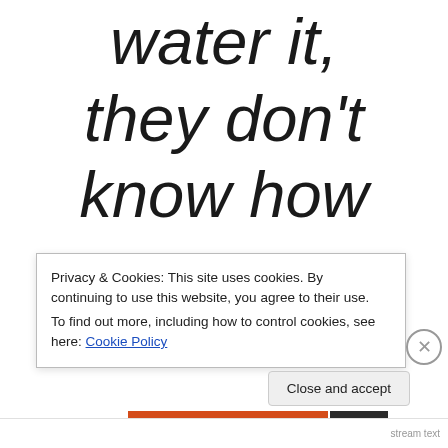water it, they don't know how many
Privacy & Cookies: This site uses cookies. By continuing to use this website, you agree to their use. To find out more, including how to control cookies, see here: Cookie Policy
Close and accept